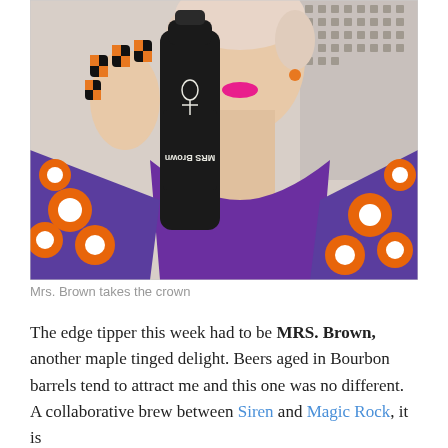[Figure (photo): A woman with pink lips and short blonde hair, wearing a purple top with a colorful floral jacket, holding up a dark beer bottle labeled 'MRS Brown' (label shown upside down). Her nails are painted with a black and orange checkered pattern.]
Mrs. Brown takes the crown
The edge tipper this week had to be MRS. BROWN, another maple tinged delight. Beers aged in Bourbon barrels tend to attract me and this one was no different. A collaborative brew between Siren and Magic Rock, it is